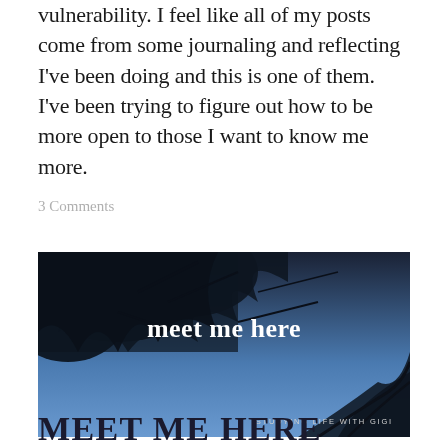vulnerability. I feel like all of my posts come from some journaling and reflecting I've been doing and this is one of them. I've been trying to figure out how to be more open to those I want to know me more.
3 Comments
[Figure (photo): Photo of tree branches against a blue sky with text overlay reading 'meet me here' and subtitle 'STUDYING LIFE WITH GIGI']
MEET ME HERE